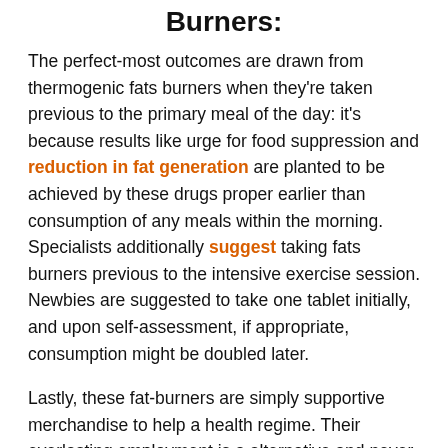Burners:
The perfect-most outcomes are drawn from thermogenic fats burners when they're taken previous to the primary meal of the day: it's because results like urge for food suppression and reduction in fat generation are planted to be achieved by these drugs proper earlier than consumption of any meals within the morning. Specialists additionally suggest taking fats burners previous to the intensive exercise session. Newbies are suggested to take one tablet initially, and upon self-assessment, if appropriate, consumption might be doubled later.
Lastly, these fat-burners are simply supportive merchandise to help a health regime. Their everlasting employment is a alternative and never a necessity. It's potential to reduce weight utilizing the usual strategies alone.